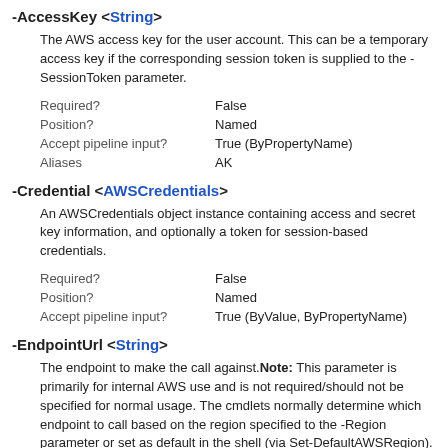-AccessKey <String>
The AWS access key for the user account. This can be a temporary access key if the corresponding session token is supplied to the -SessionToken parameter.
| Required? | False |
| Position? | Named |
| Accept pipeline input? | True (ByPropertyName) |
| Aliases | AK |
-Credential <AWSCredentials>
An AWSCredentials object instance containing access and secret key information, and optionally a token for session-based credentials.
| Required? | False |
| Position? | Named |
| Accept pipeline input? | True (ByValue, ByPropertyName) |
-EndpointUrl <String>
The endpoint to make the call against. Note: This parameter is primarily for internal AWS use and is not required/should not be specified for normal usage. The cmdlets normally determine which endpoint to call based on the region specified to the -Region parameter or set as default in the shell (via Set-DefaultAWSRegion). Only specify this parameter if you must direct the call to a specific custom endpoint.